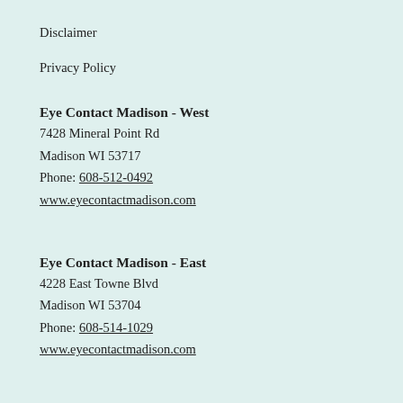Disclaimer
Privacy Policy
Eye Contact Madison - West
7428 Mineral Point Rd
Madison WI 53717
Phone: 608-512-0492
www.eyecontactmadison.com
Eye Contact Madison - East
4228 East Towne Blvd
Madison WI 53704
Phone: 608-514-1029
www.eyecontactmadison.com
Eye Contact Madison - Isthmus
846 East Washington Ave, Suite 101
Madison WI 53703